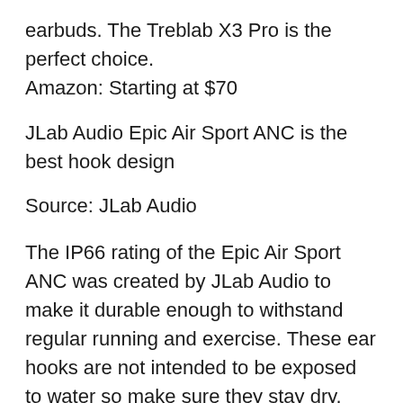earbuds. The Treblab X3 Pro is the perfect choice. Amazon: Starting at $70
JLab Audio Epic Air Sport ANC is the best hook design
Source: JLab Audio
The IP66 rating of the Epic Air Sport ANC was created by JLab Audio to make it durable enough to withstand regular running and exercise. These ear hooks are not intended to be exposed to water so make sure they stay dry. You'll find the right ear tip for you. The passive noise isolation is only beneficial to the onboard ANC. This allows you to listen to